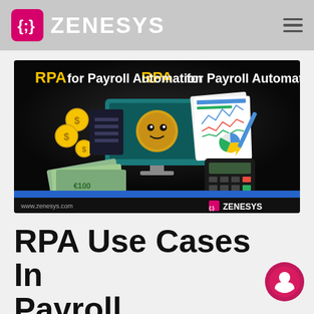ZENESYS
[Figure (illustration): RPA for Payroll Automation banner image showing a robot, computer monitor, calculator, euro banknotes, coins, charts and graphs on a dark background. Bottom bar shows 'Blog', 'www.zenesys.com', and ZENESYS logo.]
RPA Use Cases In Payroll